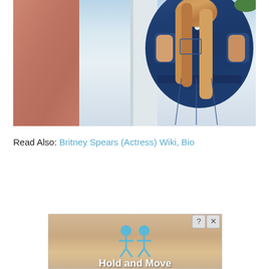[Figure (photo): A woman wearing a dark blue denim jumpsuit with short sleeves and a belted waist, with long blonde hair. Left portion shows a blurred/cropped background detail.]
Read Also: Britney Spears (Actress) Wiki, Bio
[Figure (screenshot): Advertisement banner showing 'Hold and Move' mobile game with two cartoon character icons and close/help buttons in the top right corner.]